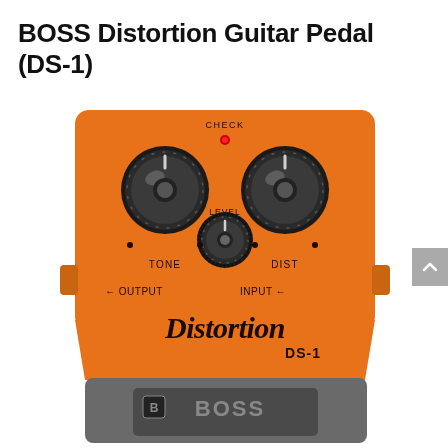BOSS Distortion Guitar Pedal (DS-1)
[Figure (photo): BOSS DS-1 Distortion guitar pedal, orange body with black knobs labeled TONE, LEVEL, DIST, with CHECK LED, OUTPUT and INPUT jacks labeled with arrows, and BOSS logo on the footswitch area. Text on pedal reads 'Distortion DS-1'.]